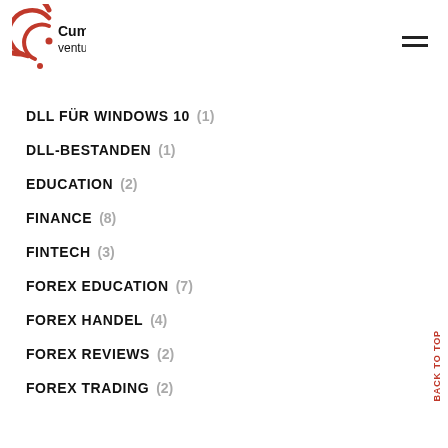[Figure (logo): Cumulative Ventures logo with red circular arc design and black text]
DLL FÜR WINDOWS 10 (1)
DLL-BESTANDEN (1)
EDUCATION (2)
FINANCE (8)
FINTECH (3)
FOREX EDUCATION (7)
FOREX HANDEL (4)
FOREX REVIEWS (2)
FOREX TRADING (2)